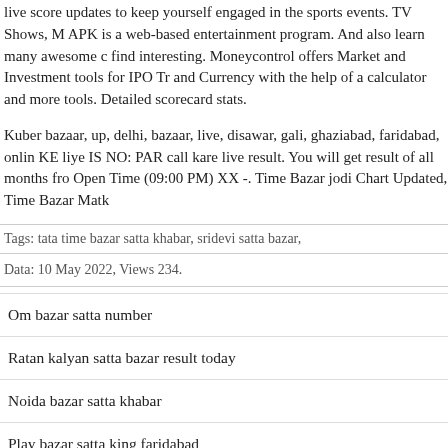live score updates to keep yourself engaged in the sports events. TV Shows, M APK is a web-based entertainment program. And also learn many awesome c find interesting. Moneycontrol offers Market and Investment tools for IPO Tr and Currency with the help of a calculator and more tools. Detailed scorecard stats.
Kuber bazaar, up, delhi, bazaar, live, disawar, gali, ghaziabad, faridabad, onlin KE liye IS NO: PAR call kare live result. You will get result of all months fro Open Time (09:00 PM) XX -. Time Bazar jodi Chart Updated, Time Bazar Matk
Tags: tata time bazar satta khabar, sridevi satta bazar,
Data: 10 May 2022, Views 234.
Om bazar satta number
Ratan kalyan satta bazar result today
Noida bazar satta khabar
Play bazar satta king faridabad
New milan day satta bazar